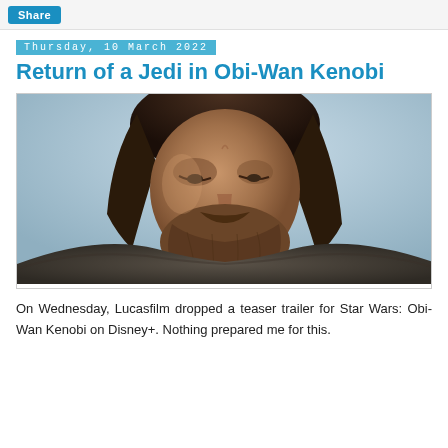Share
Thursday, 10 March 2022
Return of a Jedi in Obi-Wan Kenobi
[Figure (photo): Close-up photo of a bearded man with long dark hair looking downward, wearing a dark textured cloak. The background is a pale blue-grey sky. This appears to be a still from the Obi-Wan Kenobi Disney+ series.]
On Wednesday, Lucasfilm dropped a teaser trailer for Star Wars: Obi-Wan Kenobi on Disney+. Nothing prepared me for this.